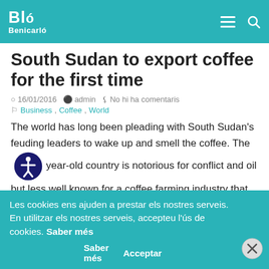Bló Benicarló
South Sudan to export coffee for the first time
16/01/2016  admin  No hi ha comentaris
Business, Coffee, World
The world has long been pleading with South Sudan's feuding leaders to wake up and smell the coffee. The year-old country is notorious for conflict and oil but less well known for a coffee farming industry that was wiped out by decades of war. Now TechnoServe, a non-profit organisation that works with smallholder farmers
Les cookies ens ajuden a prestar els nostres serveis. En utilitzar els nostres serveis, accepteu l'ús de cookies. Saber més  Acceptar